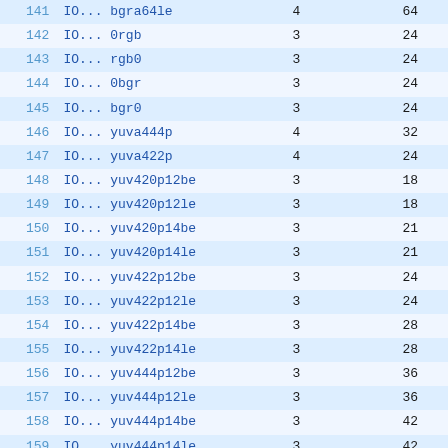| # | Flags | Nb | Bits |
| --- | --- | --- | --- |
| 141 | IO... bgra64le | 4 | 64 |
| 142 | IO... 0rgb | 3 | 24 |
| 143 | IO... rgb0 | 3 | 24 |
| 144 | IO... 0bgr | 3 | 24 |
| 145 | IO... bgr0 | 3 | 24 |
| 146 | IO... yuva444p | 4 | 32 |
| 147 | IO... yuva422p | 4 | 24 |
| 148 | IO... yuv420p12be | 3 | 18 |
| 149 | IO... yuv420p12le | 3 | 18 |
| 150 | IO... yuv420p14be | 3 | 21 |
| 151 | IO... yuv420p14le | 3 | 21 |
| 152 | IO... yuv422p12be | 3 | 24 |
| 153 | IO... yuv422p12le | 3 | 24 |
| 154 | IO... yuv422p14be | 3 | 28 |
| 155 | IO... yuv422p14le | 3 | 28 |
| 156 | IO... yuv444p12be | 3 | 36 |
| 157 | IO... yuv444p12le | 3 | 36 |
| 158 | IO... yuv444p14be | 3 | 42 |
| 159 | IO... yuv444p14le | 3 | 42 |
| 160 | IO... gbrp12be | 3 | 36 |
| 161 | IO... gbrp12le | 3 | 36 |
| 162 | IO... gbrp14be | 3 | 42 |
| 163 | IO... gbrp14le | 3 | 42 |
| 164 | IO... gbrap | 4 | 32 |
| 165 | I.... gbrap16be | 4 | 64 |
| 166 | I.... gbrap16le | 4 | 64 |
| 167 | IO... yuvj411p | 3 | 12 |
| 168 | I.... bayer_bggr8 | 3 | 8 |
| 169 | I.... bayer_rggb8 | 3 | 8 |
| 170 | I...  bayer_gbrg8 | 3 | 8 |